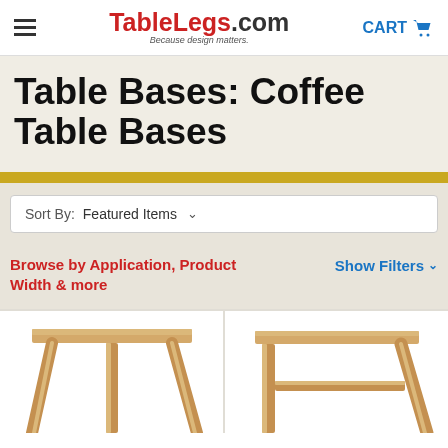TableLegs.com — Because design matters. | CART
Table Bases: Coffee Table Bases
Sort By: Featured Items
Browse by Application, Product Width & more
Show Filters
[Figure (photo): Two wooden coffee table bases with angled legs, shown cropped at bottom of page]